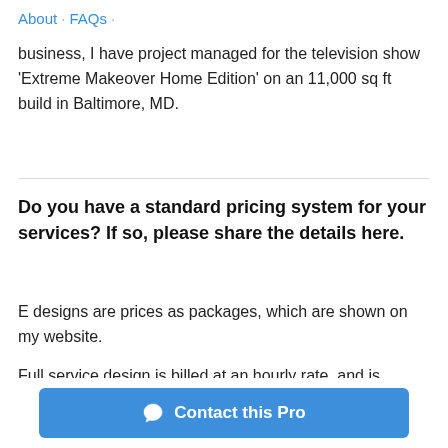About · FAQs ·
business, I have project managed for the television show 'Extreme Makeover Home Edition' on an 11,000 sq ft build in Baltimore, MD.
Do you have a standard pricing system for your services? If so, please share the details here.
E designs are prices as packages, which are shown on my website.
Full service design is billed at an hourly rate  and is dependent on the scope of your project. The initial proposal will give a good idea to how many design hours I expect a design to take.
Contact this Pro